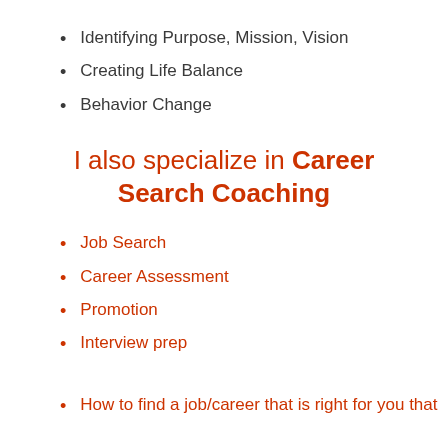Identifying Purpose, Mission, Vision
Creating Life Balance
Behavior Change
I also specialize in Career Search Coaching
Job Search
Career Assessment
Promotion
Interview prep
How to find a job/career that is right for you that